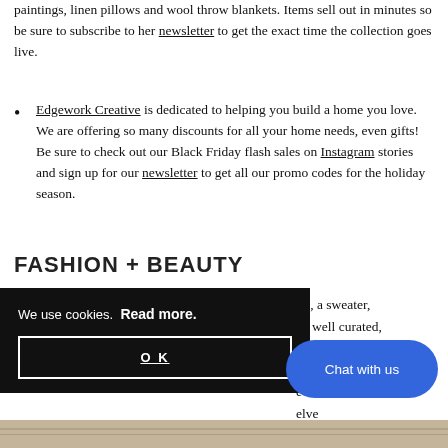paintings, linen pillows and wool throw blankets. Items sell out in minutes so be sure to subscribe to her newsletter to get the exact time the collection goes live.
Edgework Creative is dedicated to helping you build a home you love. We are offering so many discounts for all your home needs, even gifts! Be sure to check out our Black Friday flash sales on Instagram stories and sign up for our newsletter to get all our promo codes for the holiday season.
FASHION + BEAUTY
im, a sweater, ve well curated, anyone in your all b r e elve
We use cookies. Read more. OK
Chat with us